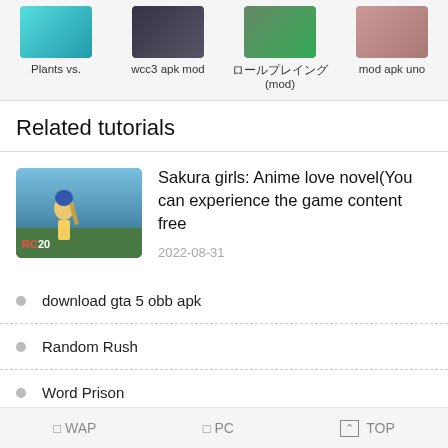[Figure (screenshot): Row of four app icons with labels: Plants vs., wcc3 apk mod, ロールプレイング(mod), mod apk uno]
Related tutorials
[Figure (photo): Thumbnail of RC20 cricket game cover showing a batsman]
Sakura girls: Anime love novel(You can experience the game content free
2022-08-31
download gta 5 obb apk
Random Rush
Word Prison
□WAP　□PC　⌃TOP